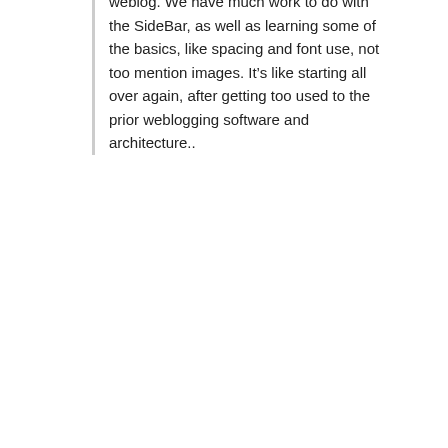weblog. We have much work to do with the SideBar, as well as learning some of the basics, like spacing and font use, not too mention images. It’s like starting all over again, after getting too used to the prior weblogging software and architecture..
p.p.s. For a better idea of what good haibun should be like, please go to the website of Contemporary Haibun Online, which has lots of examples, a good definitions page and many helpful links. The haibun editor at Simply Haiku, who is now w.f. owen (one of our f/k/a Honored Guests), offered the following perspective on what makes good haibun: